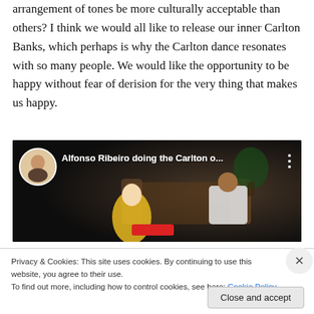arrangement of tones be more culturally acceptable than others? I think we would all like to release our inner Carlton Banks, which perhaps is why the Carlton dance resonates with so many people. We would like the opportunity to be happy without fear of derision for the very thing that makes us happy.
[Figure (screenshot): Embedded YouTube video thumbnail showing Alfonso Ribeiro doing the Carlton dance, with a circular avatar in top-left and video title text overlay]
Privacy & Cookies: This site uses cookies. By continuing to use this website, you agree to their use.
To find out more, including how to control cookies, see here: Cookie Policy